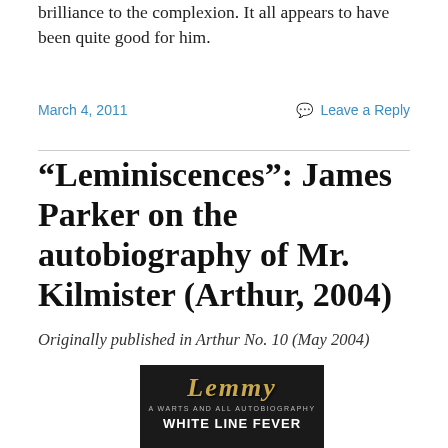brilliance to the complexion. It all appears to have been quite good for him.
March 4, 2011    Leave a Reply
“Leminiscences”: James Parker on the autobiography of Mr. Kilmister (Arthur, 2004)
Originally published in Arthur No. 10 (May 2004)
[Figure (photo): Book cover of 'Lemmy: White Line Fever - A Warts and All Autobiography' with gold metallic lettering on dark background]